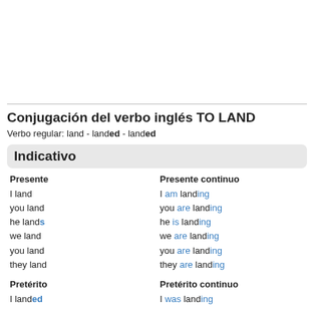Conjugación del verbo inglés TO LAND
Verbo regular: land - landed - landed
Indicativo
Presente
I land
you land
he lands
we land
you land
they land
Presente continuo
I am landing
you are landing
he is landing
we are landing
you are landing
they are landing
Pretérito
I landed
Pretérito continuo
I was landing